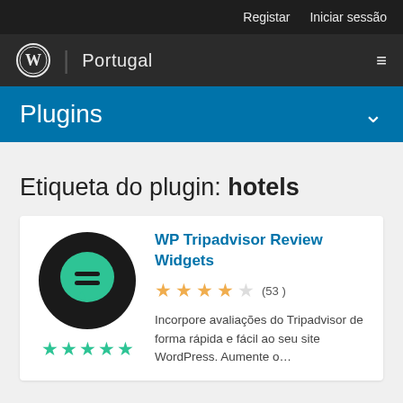Registar  Iniciar sessão
[Figure (logo): WordPress logo with Portugal site name and hamburger menu]
Plugins
Etiqueta do plugin: hotels
WP Tripadvisor Review Widgets — rated 4 out of 5 stars (53) — Incorpore avaliações do Tripadvisor de forma rápida e fácil ao seu site WordPress. Aumente o...